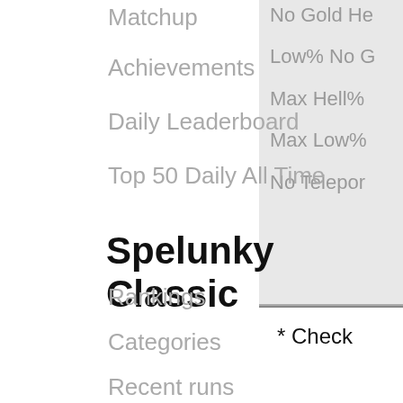Matchup
Achievements
Daily Leaderboard
Top 50 Daily All Time
No Gold He
Low% No G
Max Hell%
Max Low%
No Teleport
Spelunky Classic
Rankings
Categories
Recent runs
Matchup
Achievements
* Check